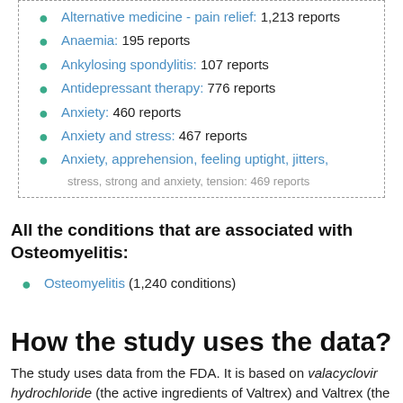Alternative medicine - pain relief: 1,213 reports
Anaemia: 195 reports
Ankylosing spondylitis: 107 reports
Antidepressant therapy: 776 reports
Anxiety: 460 reports
Anxiety and stress: 467 reports
Anxiety, apprehension, feeling uptight, jitters, stress, strong and anxiety, tension: 469 reports
All the conditions that are associated with Osteomyelitis:
Osteomyelitis (1,240 conditions)
How the study uses the data?
The study uses data from the FDA. It is based on valacyclovir hydrochloride (the active ingredients of Valtrex) and Valtrex (the brand name). Other drugs that have the same active ingredients are also ...